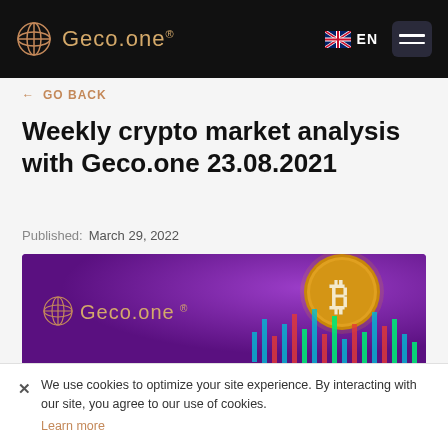Geco.one® EN
← GO BACK
Weekly crypto market analysis with Geco.one 23.08.2021
Published: March 29, 2022
[Figure (illustration): Purple banner with Geco.one logo on the left, a gold Bitcoin coin on the right, and colorful candlestick chart bars at the bottom right]
× We use cookies to optimize your site experience. By interacting with our site, you agree to our use of cookies. Learn more